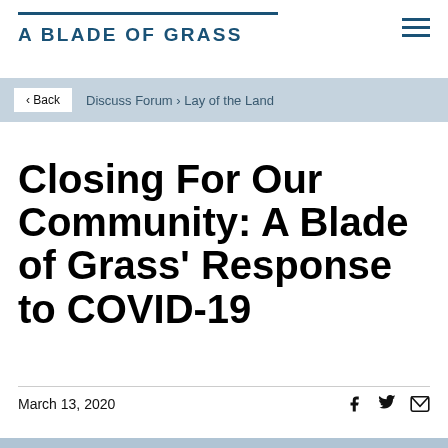A BLADE OF GRASS
‹ Back   Discuss Forum › Lay of the Land
Closing For Our Community: A Blade of Grass' Response to COVID-19
March 13, 2020